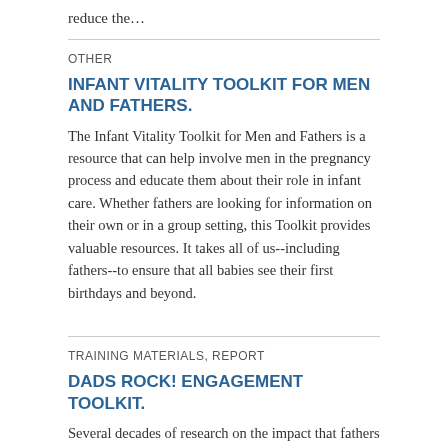reduce the…
OTHER
INFANT VITALITY TOOLKIT FOR MEN AND FATHERS.
The Infant Vitality Toolkit for Men and Fathers is a resource that can help involve men in the pregnancy process and educate them about their role in infant care. Whether fathers are looking for information on their own or in a group setting, this Toolkit provides valuable resources. It takes all of us--including fathers--to ensure that all babies see their first birthdays and beyond.
TRAINING MATERIALS, REPORT
DADS ROCK! ENGAGEMENT TOOLKIT.
Several decades of research on the impact that fathers have